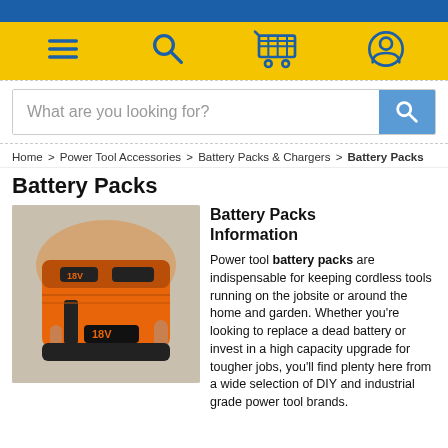Menu | Search | Cart | Account
What are you looking for?
Home > Power Tool Accessories > Battery Packs & Chargers > Battery Packs
Battery Packs
[Figure (photo): A person holding an orange and black 18V lithium battery pack with two battery slots visible]
Battery Packs Information
Power tool battery packs are indispensable for keeping cordless tools running on the jobsite or around the home and garden. Whether you're looking to replace a dead battery or invest in a high capacity upgrade for tougher jobs, you'll find plenty here from a wide selection of DIY and industrial grade power tool brands.